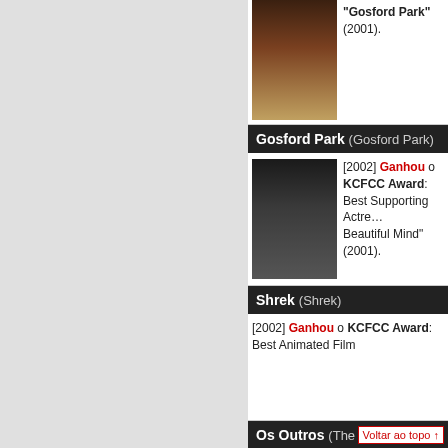"Gosford Park" (2001).
Gosford Park (Gosford Park)
[2002] Ganhou o KCFCC Award: Best Supporting Actre... Beautiful Mind" (2001).
Shrek (Shrek)
[2002] Ganhou o KCFCC Award: Best Animated Film
Os Outros (The Others)
[2002] Ganhou o KCFCC Award: Best Actress "Nicole K...
Mundo Fantasma (Ghost World)
[2002] Ganhou o KCFCC Award: Best Supporting Actor...
Voltar ao topo ↑